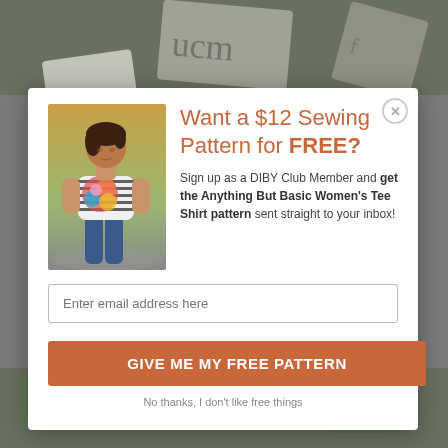[Figure (photo): Background showing sewing pattern cards and fabric, partially visible behind modal popup]
Want a $12 Sewing Pattern for FREE?
Sign up as a DIBY Club Member and get the Anything But Basic Women's Tee Shirt pattern sent straight to your inbox!
Enter email address here
GIVE ME MY FREE PATTERN
No thanks, I don't like free things